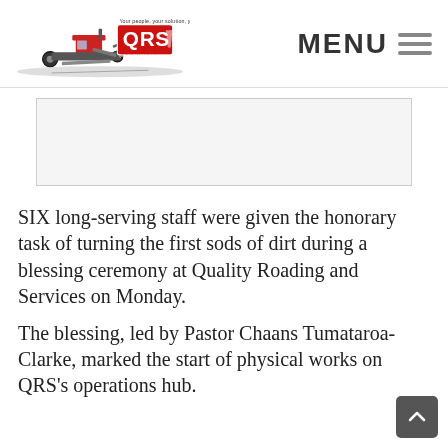[Figure (logo): QRS Quality Roading and Services (Wairoa) Limited logo with grader/road machinery illustration and red QRS badge. Tagline: Your people, your solution, you're sorted.]
[Figure (photo): Placeholder image area (white/light grey box) — likely a photo of the blessing ceremony]
SIX long-serving staff were given the honorary task of turning the first sods of dirt during a blessing ceremony at Quality Roading and Services on Monday.
The blessing, led by Pastor Chaans Tumataroa-Clarke, marked the start of physical works on QRS's operations hub.